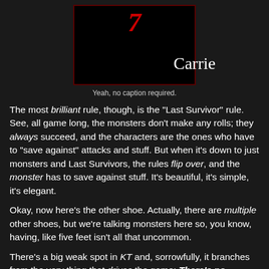[Figure (illustration): Book cover of 'Carrie' with black background, red slash mark, and white serif title text]
Yeah, no caption required.
The most brilliant rule, though, is the "Last Survivor" rule.  See, all game long, the monsters don't make any rolls; they always succeed, and the characters are the ones who have to "save against" attacks and stuff.  But when it's down to just monsters and Last Survivors, the rules flip over, and the monster has to save against stuff.  It's beautiful, it's simple, it's elegant.
Okay, now here's the other shoe.  Actually, there are multiple other shoes, but we're talking monsters here so, you know, having, like five feet isn't all that uncommon.
There's a big weak spot in KT and, sorrowfully, it branches from the very thing that drives the game: There's no